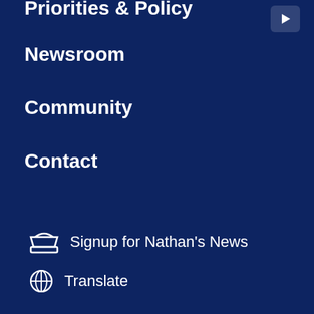Priorities & Policy
Newsroom
Community
Contact
Signup for Nathan's News
Translate